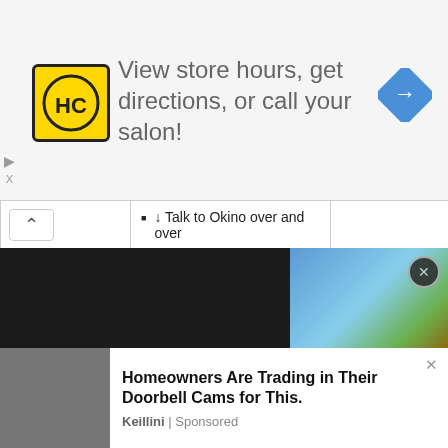[Figure (other): Advertisement banner: HC salon logo (yellow square with HC letters), text 'View store hours, get directions, or call your salon!', blue diamond navigation icon on right]
↓ Talk to Okino over and over
↓ Stand in transition position
"Contact with 16th AI"
↓ Speak to Amiguchi
↓ Converse with Natsuno
↓ Talk to BJ
↓ Go back and talk to
[Figure (screenshot): Bottom advertisement area with animated character image (game screenshot) on top half black background, and 'Homeowners Are Trading in Their Doorbell Cams for This.' ad by Keillini below]